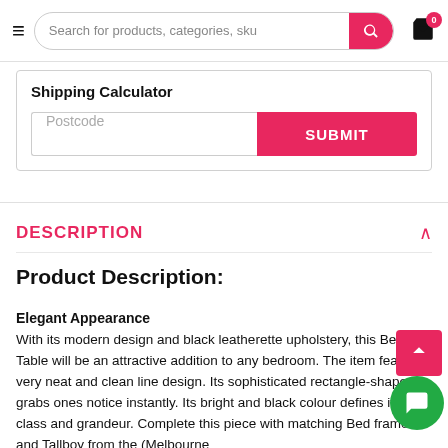Search for products, categories, sku
Shipping Calculator
Postcode
SUBMIT
DESCRIPTION
Product Description:
Elegant Appearance
With its modern design and black leatherette upholstery, this Bedside Table will be an attractive addition to any bedroom. The item features very neat and clean line design. Its sophisticated rectangle-shape grabs ones notice instantly. Its bright and black colour defines its class and grandeur. Complete this piece with matching Bed frame and Tallboy from the (Melbourne...